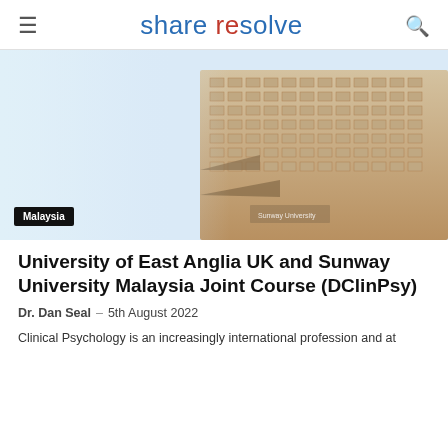share resolve
[Figure (photo): University building exterior photo with light blue sky, showing a modern multi-storey building with gridded windows. A 'Malaysia' badge is overlaid at the bottom left.]
University of East Anglia UK and Sunway University Malaysia Joint Course (DClinPsy)
Dr. Dan Seal – 5th August 2022
Clinical Psychology is an increasingly international profession and at